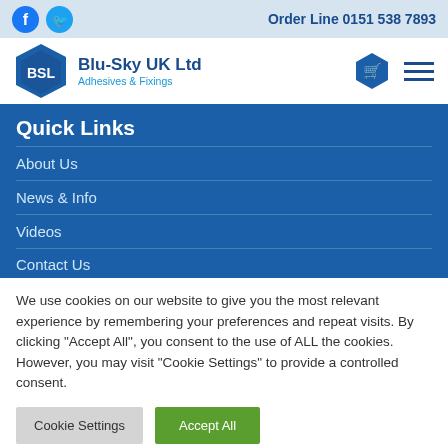Order Line 0151 538 7893
[Figure (logo): BSL Blu-Sky UK Ltd Adhesives & Fixings logo with hexagonal badge]
Quick Links
About Us
News & Info
Videos
Contact Us
We use cookies on our website to give you the most relevant experience by remembering your preferences and repeat visits. By clicking “Accept All”, you consent to the use of ALL the cookies. However, you may visit "Cookie Settings" to provide a controlled consent.